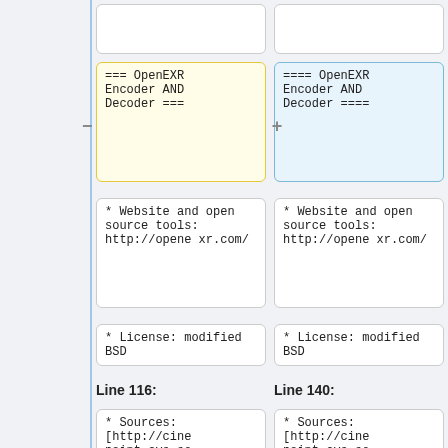[Figure (screenshot): Diff/comparison view showing two columns of code blocks. Left column has yellow highlighted box with '=== OpenEXR Encoder AND Decoder ===' and right column has blue highlighted box with '==== OpenEXR Encoder AND Decoder ===='. Below are matching boxes with '* Website and open source tools: http://openexr.com/' and '* License: modified BSD'. Line labels 'Line 116:' and 'Line 140:' appear before the last row with '* Sources: [http://cine paint.cvs.so']